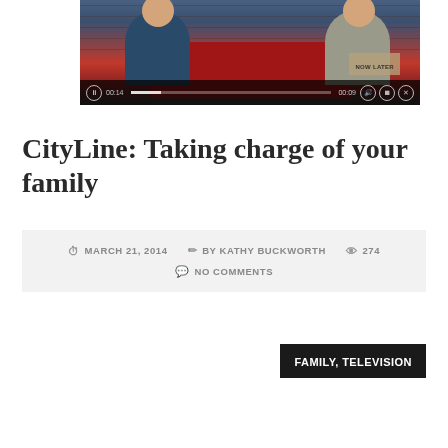[Figure (photo): Video thumbnail showing two women seated at a red table in a TV studio setting with brick wall background, with video player controls visible at the bottom]
CityLine: Taking charge of your family
MARCH 21, 2014  BY KATHY BUCKWORTH  274  NO COMMENTS
FAMILY, TELEVISION